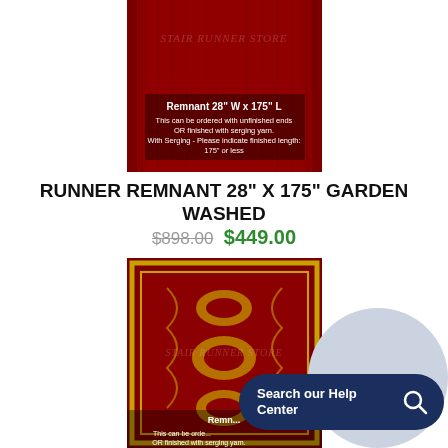[Figure (photo): Red garden washed runner rug remnant 28 inches wide by 175 inches long, shown from above with text overlay. Watermark reads STAIR RUNNER STORE.]
RUNNER REMNANT 28" X 175" GARDEN WASHED
$898.00 $449.00
[Figure (photo): Red ornamental runner rug with gold floral and vine pattern, shown from above. Watermark reads STAIR RUNNER STORE. Partially obscured by Search our Help Center button.]